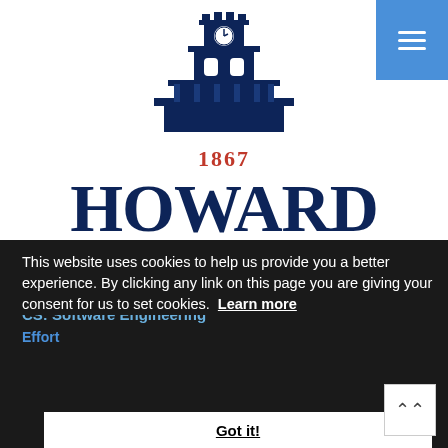[Figure (logo): Howard University clock tower logo with '1867' in red and 'HOWARD' in large dark navy serif text, with a red underline]
Course Auditing
This website uses cookies to help us provide you a better experience. By clicking any link on this page you are giving your consent for us to set cookies. Learn more
Coursera   in   Howard University
CS: Programming,
CS: Software Engineering
Got it!
Effort